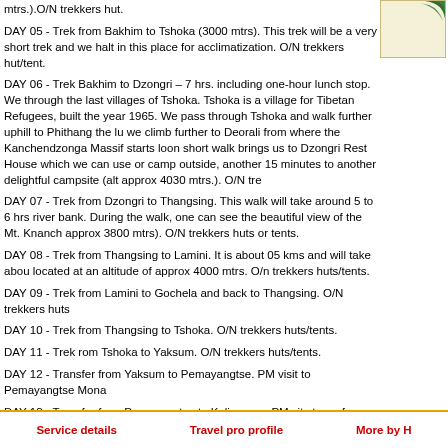mtrs.).O/N trekkers hut.
DAY 05 - Trek from Bakhim to Tshoka (3000 mtrs). This trek will be a very short trek and we halt in this place for acclimatization. O/N trekkers hut/tent.
DAY 06 - Trek Bakhim to Dzongri – 7 hrs. including one-hour lunch stop. We through the last villages of Tshoka. Tshoka is a village for Tibetan Refugees, built the year 1965. We pass through Tshoka and walk further uphill to Phithang the lu we climb further to Deorali from where the Kanchendzonga Massif starts loon short walk brings us to Dzongri Rest House which we can use or camp outside, another 15 minutes to another delightful campsite (alt approx 4030 mtrs.). O/N tre
DAY 07 - Trek from Dzongri to Thangsing. This walk will take around 5 to 6 hrs river bank. During the walk, one can see the beautiful view of the Mt. Knanch approx 3800 mtrs). O/N trekkers huts or tents.
DAY 08 - Trek from Thangsing to Lamini. It is about 05 kms and will take abou located at an altitude of approx 4000 mtrs. O/n trekkers huts/tents.
DAY 09 - Trek from Lamini to Gochela and back to Thangsing. O/N trekkers huts
DAY 10 - Trek from Thangsing to Tshoka. O/N trekkers huts/tents.
DAY 11 - Trek rom Tshoka to Yaksum. O/N trekkers huts/tents.
DAY 12 - Transfer from Yaksum to Pemayangtse. PM visit to Pemayangtse Mona
DAY 13 - Transfer from Pemayangtse to Kalimpong. PM city tour of Kalimpong Phelri Monastery, flower nursery and walk around Kalimpong bazar.
DAY 14 - Transfer from Kalimpong to Bagdorga Airport.
Service details   Travel pro profile   More by H